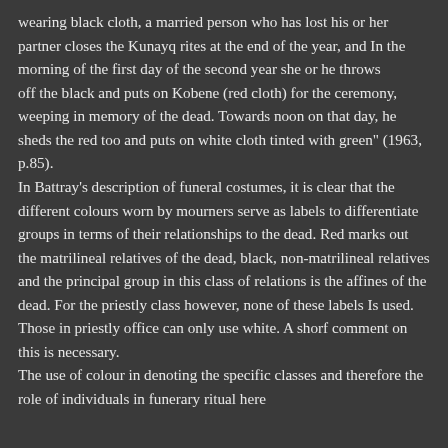wearing black cloth, a married person who has lost his or her partner closes the Kunayq rites at the end of the year, and In the morning of the first day of the second year she or he throws off the black and puts on Kobene (red cloth) for the ceremony, weeping in memory of the dead. Towards noon on that day, he sheds the red too and puts on white cloth tinted with green" (1963, p.85). In Battray's description of funeral costumes, it is clear that the different colours worn by mourners serve as labels to differentiate groups in terms of their relationships to the dead. Red marks out the matrilineal relatives of the dead, black, non-matrilineal relatives and the principal group in this class of relations is the affines of the dead. For the priestly class however, none of these labels Is used. Those in priestly office can only use white. A shorf comment on this is necessary. The use of colour in denoting the specific classes and therefore the role of individuals in funerary ritual here